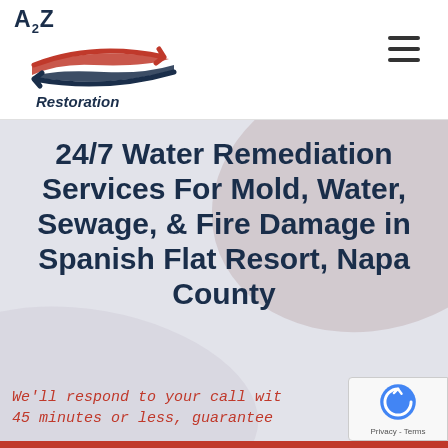[Figure (logo): A2Z Restoration logo with red and blue arrow swooshes and italic 'Restoration' text below]
24/7 Water Remediation Services For Mold, Water, Sewage, & Fire Damage in Spanish Flat Resort, Napa County
We'll respond to your call within 45 minutes or less, guaranteed